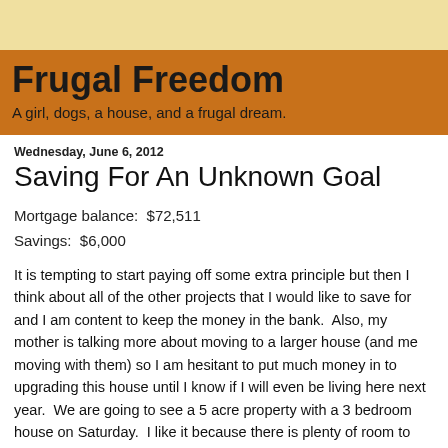Frugal Freedom
A girl, dogs, a house, and a frugal dream.
Wednesday, June 6, 2012
Saving For An Unknown Goal
Mortgage balance:  $72,511
Savings:  $6,000
It is tempting to start paying off some extra principle but then I think about all of the other projects that I would like to save for and I am content to keep the money in the bank.  Also, my mother is talking more about moving to a larger house (and me moving with them) so I am hesitant to put much money in to upgrading this house until I know if I will even be living here next year.  We are going to see a 5 acre property with a 3 bedroom house on Saturday.  I like it because there is plenty of room to expand.  We could build a nice little Cape Cod style 2 bedroom 2 bath guest house for my parents and nephew and I could have the house.  Of